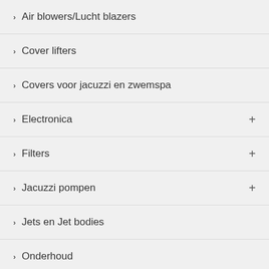Air blowers/Lucht blazers
Cover lifters
Covers voor jacuzzi en zwemspa
Electronica
Filters
Jacuzzi pompen
Jets en Jet bodies
Onderhoud
Ozonators
Reinigings producten